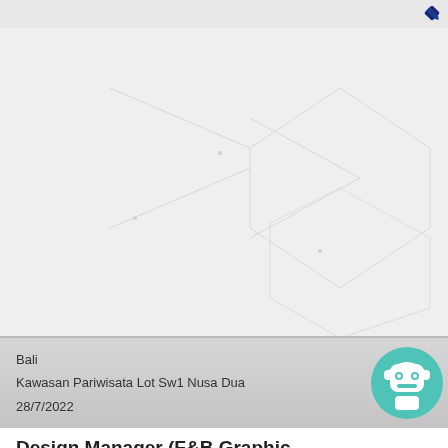[Figure (screenshot): App UI top bar with pencil/edit icon on the right]
[Figure (illustration): Light gray background with faint white hexagonal arrow/chevron shapes and small dots scattered around]
Bali
Kawasan Pariwisata Lot Sw1 Nusa Dua
28/7/2022
[Figure (illustration): Teal/green robot face avatar icon with headset]
Design Manager (F&B Graphic Design/Marketing)